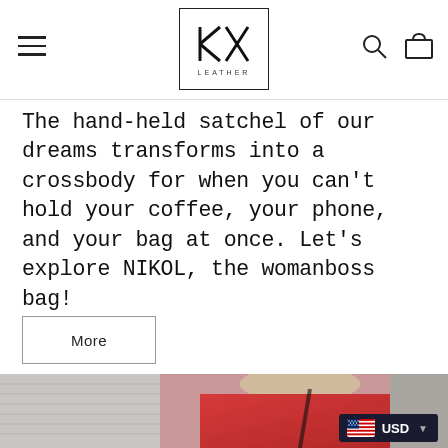KA LEATHER — navigation bar with hamburger menu, logo, search and cart icons
The hand-held satchel of our dreams transforms into a crossbody for when you can't hold your coffee, your phone, and your bag at once. Let's explore NIKOL, the womanboss bag!
More
[Figure (photo): Woman wearing a red jacket/backpack viewed from behind, outdoors near a building with metal siding. USD currency selector badge visible in bottom right corner.]